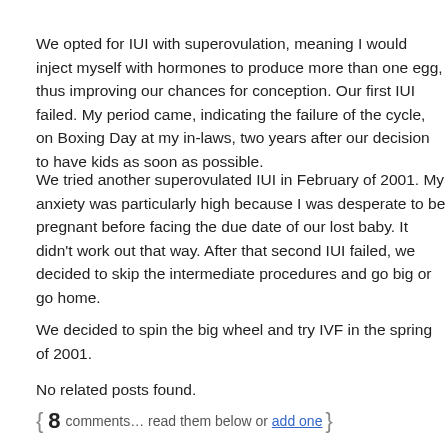We opted for IUI with superovulation, meaning I would inject myself with hormones to produce more than one egg, thus improving our chances for conception. Our first IUI failed. My period came, indicating the failure of the cycle, on Boxing Day at my in-laws, two years after our decision to have kids as soon as possible.
We tried another superovulated IUI in February of 2001. My anxiety was particularly high because I was desperate to be pregnant before facing the due date of our lost baby. It didn't work out that way. After that second IUI failed, we decided to skip the intermediate procedures and go big or go home.
We decided to spin the big wheel and try IVF in the spring of 2001.
No related posts found.
{ 8 comments… read them below or add one }